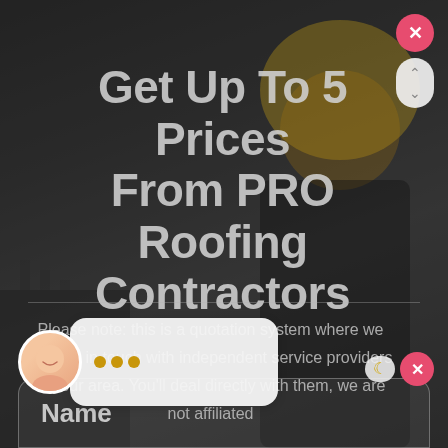[Figure (screenshot): Dark background with construction worker wearing yellow hard hat, used as website modal background image]
Get Up To 5 Prices From PRO Roofing Contractors
Please note: this is a quotation system where we put you in touch with independent service providers in your area. You'll deal directly with them, we are not affiliated
Name